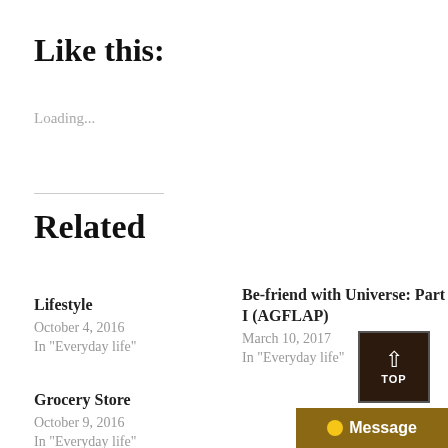Like this:
Loading...
Related
Lifestyle
October 4, 2016
In "Everyday life"
Be-friend with Universe: Part I (AGFLAP)
March 10, 2017
In "Everyday life"
Grocery Store
October 9, 2016
In "Everyday life"